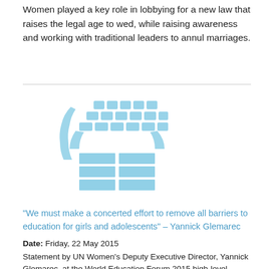Women played a key role in lobbying for a new law that raises the legal age to wed, while raising awareness and working with traditional leaders to annul marriages.
[Figure (logo): UN Women logo — stylized globe and building blocks in light blue]
"We must make a concerted effort to remove all barriers to education for girls and adolescents" – Yannick Glemarec
Date: Friday, 22 May 2015
Statement by UN Women's Deputy Executive Director, Yannick Glemarec, at the World Education Forum 2015 high-level statements and closing ceremony, on 21 May, in Incheon, Republic of Korea.